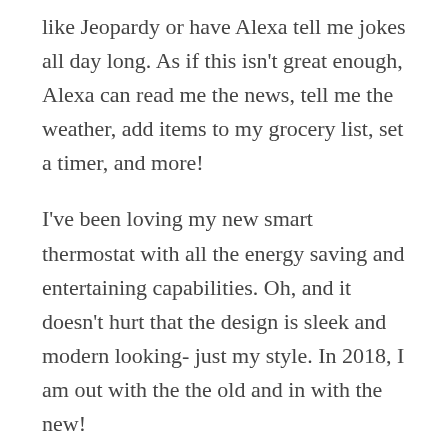like Jeopardy or have Alexa tell me jokes all day long. As if this isn't great enough, Alexa can read me the news, tell me the weather, add items to my grocery list, set a timer, and more!
I've been loving my new smart thermostat with all the energy saving and entertaining capabilities. Oh, and it doesn't hurt that the design is sleek and modern looking- just my style. In 2018, I am out with the the old and in with the new!
Get started with your ecobee4 here for full product details, compatibility, and